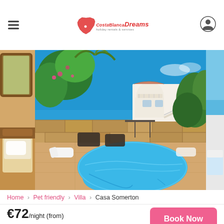CostaBlanc Dreams — holiday rentals & services
[Figure (photo): Holiday villa with swimming pool, white architecture, tropical garden, outdoor seating, blue sky. Left panel: interior bedroom view. Right panel: partial sea/patio view.]
Home > Pet friendly > Villa > Casa Somerton
€72/night (from)
★★★★★ Excellent
Book Now